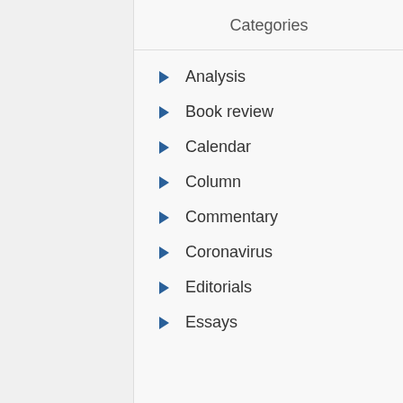Categories
Analysis
Book review
Calendar
Column
Commentary
Coronavirus
Editorials
Essays